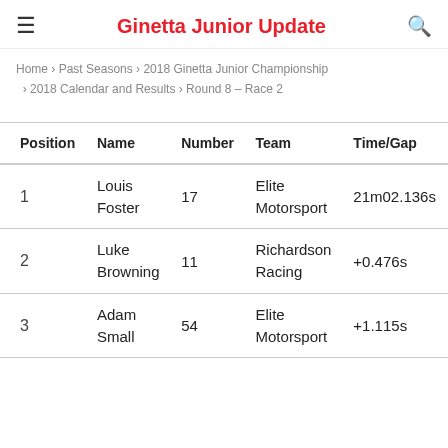Ginetta Junior Update
Home > Past Seasons > 2018 Ginetta Junior Championship > 2018 Calendar and Results > Round 8 – Race 2
| Position | Name | Number | Team | Time/Gap |
| --- | --- | --- | --- | --- |
| 1 | Louis Foster | 17 | Elite Motorsport | 21m02.136s |
| 2 | Luke Browning | 11 | Richardson Racing | +0.476s |
| 3 | Adam Small | 54 | Elite Motorsport | +1.115s |